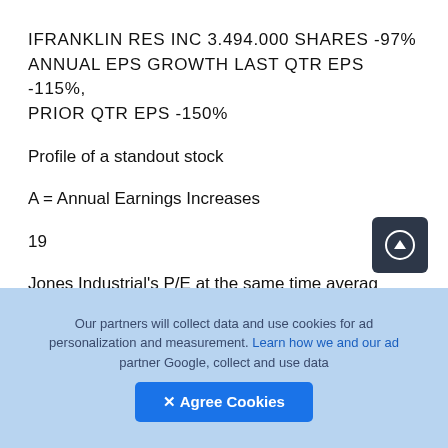IFRANKLIN RES INC 3.494.000 SHARES -97% ANNUAL EPS GROWTH LAST QTR EPS -115%, PRIOR QTR EPS -150%
Profile of a standout stock
A = Annual Earnings Increases
19
Jones Industrial's P/E at the same time average. While advancing, these stocks expanded their P/Es to approximately 45 (125% expansion
Our partners will collect data and use cookies for ad personalization and measurement. Learn how we and our ad partner Google, collect and use data